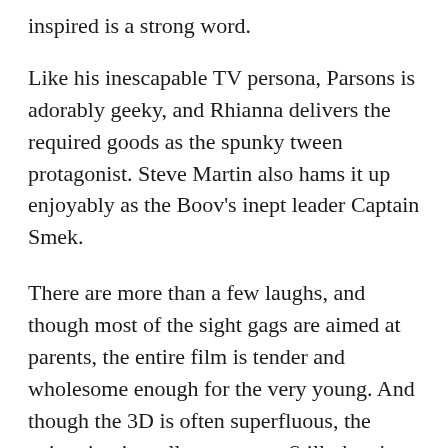inspired is a strong word.
Like his inescapable TV persona, Parsons is adorably geeky, and Rhianna delivers the required goods as the spunky tween protagonist. Steve Martin also hams it up enjoyably as the Boov's inept leader Captain Smek.
There are more than a few laughs, and though most of the sight gags are aimed at parents, the entire film is tender and wholesome enough for the very young. And though the 3D is often superfluous, the animation is really gorgeous. Still, there's nothing new to see here.
If you're in the market for a film that offers your wee ones positive examples aplenty – girl power, anti-colonialism, nonconformist messages among many, many others – this movie hits every mark, although it does so in a way that won't leave a big impression. Even if you're looking for an inoffensive time waster, Home fits that bill. Think of it as a colorful, sweet,